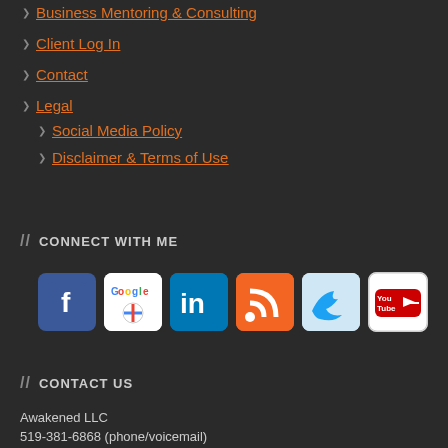Business Mentoring & Consulting
Client Log In
Contact
Legal
Social Media Policy
Disclaimer & Terms of Use
// CONNECT WITH ME
[Figure (infographic): Row of 6 social media icons: Facebook (blue f), Google+ (colorful plus), LinkedIn (blue in), RSS (orange wifi symbol), Twitter (light blue bird), YouTube (white/red logo)]
// CONTACT US
Awakened LLC
519-381-6868 (phone/voicemail)
519-542-9535 (fax)